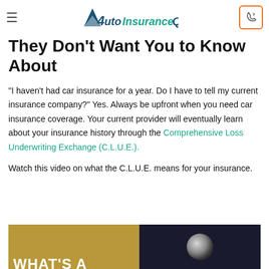AutoInsuranceQuote
They Don't Want You to Know About
“I haven’t had car insurance for a year. Do I have to tell my current insurance company?” Yes. Always be upfront when you need car insurance coverage. Your current provider will eventually learn about your insurance history through the Comprehensive Loss Underwriting Exchange (C.L.U.E.).
Watch this video on what the C.L.U.E. means for your insurance.
[Figure (screenshot): Video thumbnail showing 'WHAT'S A' text on golden background (left half) and a dark background with a glowing circular element (right half).]